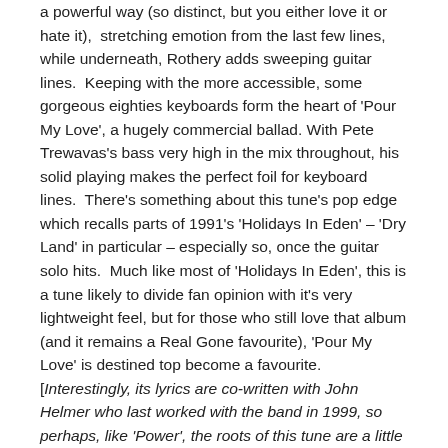a powerful way (so distinct, but you either love it or hate it),  stretching emotion from the last few lines, while underneath, Rothery adds sweeping guitar lines.  Keeping with the more accessible, some gorgeous eighties keyboards form the heart of 'Pour My Love', a hugely commercial ballad. With Pete Trewavas's bass very high in the mix throughout, his solid playing makes the perfect foil for keyboard lines.  There's something about this tune's pop edge which recalls parts of 1991's 'Holidays In Eden' – 'Dry Land' in particular – especially so, once the guitar solo hits.  Much like most of 'Holidays In Eden', this is a tune likely to divide fan opinion with it's very lightweight feel, but for those who still love that album (and it remains a Real Gone favourite), 'Pour My Love' is destined top become a favourite. [Interestingly, its lyrics are co-written with John Helmer who last worked with the band in 1999, so perhaps, like 'Power', the roots of this tune are a little older?]
The second of the album's extended pieces, 'Montreal' begins with a restrained and thoughtful tone, as h's voice cries out over some simple electric piano. Just as you're